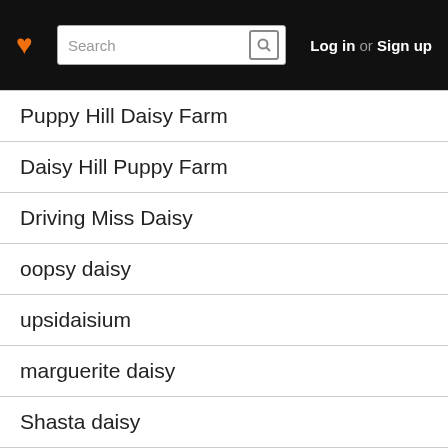Search | Log in or Sign up
Puppy Hill Daisy Farm
Daisy Hill Puppy Farm
Driving Miss Daisy
oopsy daisy
upsidaisium
marguerite daisy
Shasta daisy
oxeye daisy